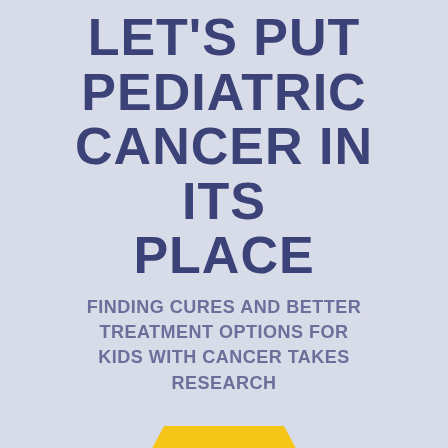LET'S PUT PEDIATRIC CANCER IN ITS PLACE
FINDING CURES AND BETTER TREATMENT OPTIONS FOR KIDS WITH CANCER TAKES RESEARCH
[Figure (infographic): Yellow hexagon shape with the number 43 displayed inside in dark navy/blue color]